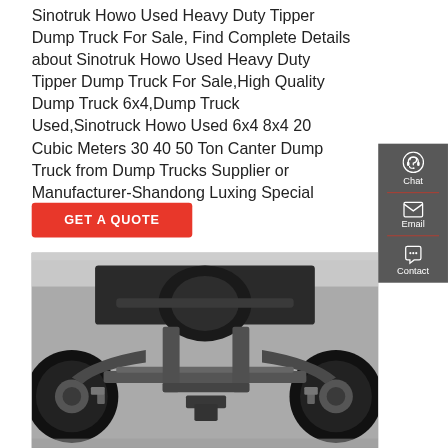Sinotruk Howo Used Heavy Duty Tipper Dump Truck For Sale, Find Complete Details about Sinotruk Howo Used Heavy Duty Tipper Dump Truck For Sale,High Quality Dump Truck 6x4,Dump Truck Used,Sinotruck Howo Used 6x4 8x4 20 Cubic Meters 30 40 50 Ton Canter Dump Truck from Dump Trucks Supplier or Manufacturer-Shandong Luxing Special Purpose Vehicle ...
[Figure (other): Red 'GET A QUOTE' button]
[Figure (other): Dark grey sidebar with Chat (headset icon), Email (envelope icon), and Contact (speech bubble icon) sections separated by red dividers]
[Figure (photo): Underside/chassis view of a Sinotruk Howo heavy duty dump truck showing axles, suspension, drive shaft and rear wheels from below]